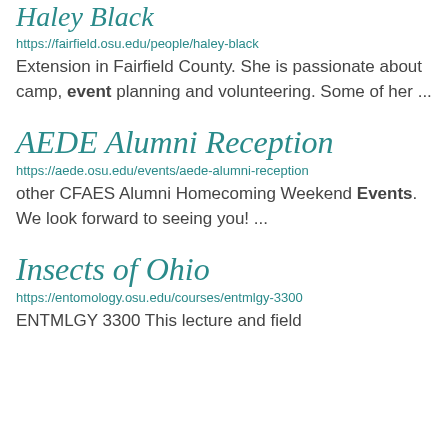Haley Black
https://fairfield.osu.edu/people/haley-black
Extension in Fairfield County. She is passionate about camp, event planning and volunteering. Some of her ...
AEDE Alumni Reception
https://aede.osu.edu/events/aede-alumni-reception
other CFAES Alumni Homecoming Weekend Events. We look forward to seeing you! ...
Insects of Ohio
https://entomology.osu.edu/courses/entmlgy-3300
ENTMLGY 3300 This lecture and field